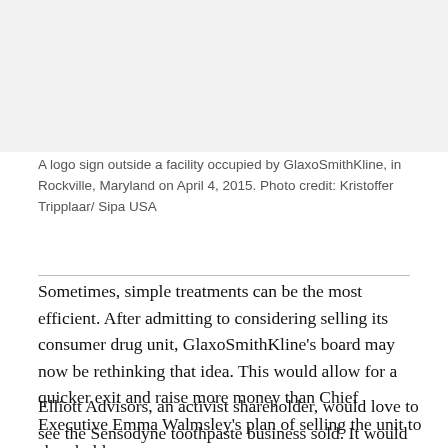[Figure (photo): A logo sign outside a facility occupied by GlaxoSmithKline, in Rockville, Maryland — photo area shown as light gray background]
A logo sign outside a facility occupied by GlaxoSmithKline, in Rockville, Maryland on April 4, 2015. Photo credit: Kristoffer Tripplaar/ Sipa USA
Sometimes, simple treatments can be the most efficient. After admitting to considering selling its consumer drug unit, GlaxoSmithKline’s board may now be rethinking that idea. This would allow for a quicker exit and raise more money than Chief Executive Emma Walmsley’s plan of selling the unit to shareholders.
Elliott Advisors, an activist shareholder, would love to see the Sensodyne toothpaste business sold. It would be a huge win. Elliott Advisors has been calling Walmsley to reapply and